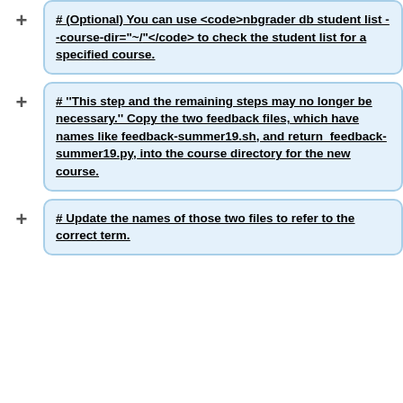# (Optional) You can use <code>nbgrader db student list --course-dir="~/<course-directory>"</code> to check the student list for a specified course.
# ''This step and the remaining steps may no longer be necessary.'' Copy the two feedback files, which have names like feedback-summer19.sh, and return_feedback-summer19.py, into the course directory for the new course.
# Update the names of those two files to refer to the correct term.